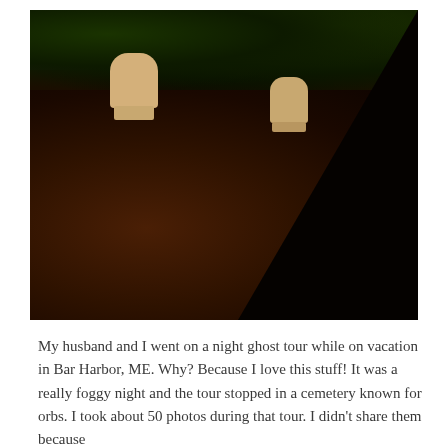[Figure (photo): Nighttime photograph of a cemetery showing two light-colored gravestones on a dark reddish-brown grassy mound, with dark foliage in the background and a large dark shadow in the lower right corner.]
My husband and I went on a night ghost tour while on vacation in Bar Harbor, ME. Why? Because I love this stuff! It was a really foggy night and the tour stopped in a cemetery known for orbs. I took about 50 photos during that tour. I didn't share them because